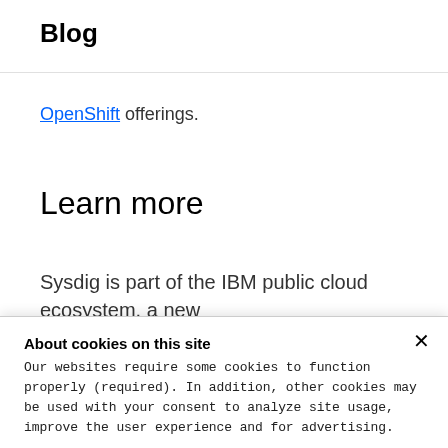Blog
OpenShift offerings.
Learn more
Sysdig is part of the IBM public cloud ecosystem, a new
About cookies on this site
Our websites require some cookies to function properly (required). In addition, other cookies may be used with your consent to analyze site usage, improve the user experience and for advertising.

For more information, please review your Cookie preferences options and IBM's privacy statement.
Required only
Accept all